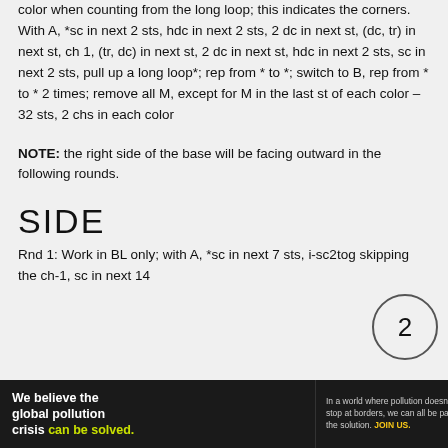color when counting from the long loop; this indicates the corners. With A, *sc in next 2 sts, hdc in next 2 sts, 2 dc in next st, (dc, tr) in next st, ch 1, (tr, dc) in next st, 2 dc in next st, hdc in next 2 sts, sc in next 2 sts, pull up a long loop*; rep from * to *; switch to B, rep from * to * 2 times; remove all M, except for M in the last st of each color – 32 sts, 2 chs in each color
NOTE: the right side of the base will be facing outward in the following rounds.
SIDE
Rnd 1: Work in BL only; with A, *sc in next 7 sts, i-sc2tog skipping the ch-1, sc in next 14
[Figure (other): Circle badge with number 2]
[Figure (other): Advertisement banner for Pure Earth organization. Left: 'We believe the global pollution crisis can be solved.' Middle: 'In a world where pollution doesn't stop at borders, we can all be part of the solution. JOIN US.' Right: Pure Earth logo with diamond/triangle icon.]